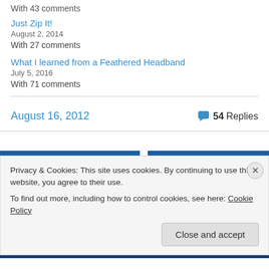With 43 comments
Just Zip It!
August 2, 2014
With 27 comments
What I learned from a Feathered Headband
July 5, 2016
With 71 comments
August 16, 2012   54 Replies
Privacy & Cookies: This site uses cookies. By continuing to use this website, you agree to their use. To find out more, including how to control cookies, see here: Cookie Policy
Close and accept